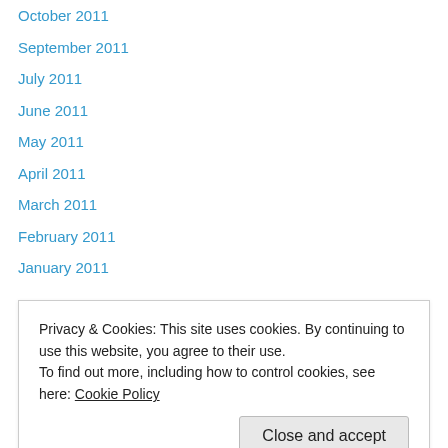October 2011
September 2011
July 2011
June 2011
May 2011
April 2011
March 2011
February 2011
January 2011
Categories
1 yr old
Privacy & Cookies: This site uses cookies. By continuing to use this website, you agree to their use.
To find out more, including how to control cookies, see here: Cookie Policy